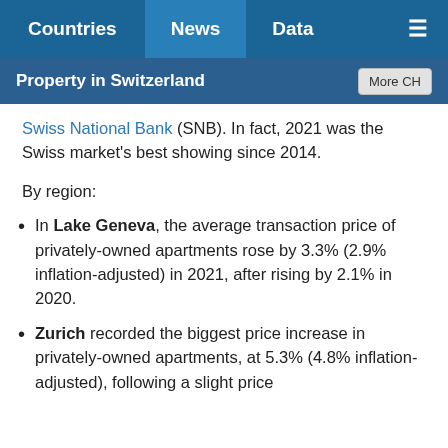Countries | News | Data | Menu
Property in Switzerland | More CH
Swiss National Bank (SNB). In fact, 2021 was the Swiss market's best showing since 2014.
By region:
In Lake Geneva, the average transaction price of privately-owned apartments rose by 3.3% (2.9% inflation-adjusted) in 2021, after rising by 2.1% in 2020.
Zurich recorded the biggest price increase in privately-owned apartments, at 5.3% (4.8% inflation-adjusted), following a slight price